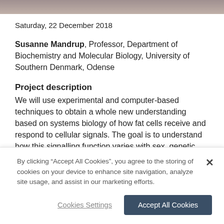[Figure (photo): Partial photo strip at top of page showing a person]
Saturday, 22 December 2018
Susanne Mandrup, Professor, Department of Biochemistry and Molecular Biology, University of Southern Denmark, Odense
Project description
We will use experimental and computer-based techniques to obtain a whole new understanding based on systems biology of how fat cells receive and respond to cellular signals. The goal is to understand how this signalling function varies with sex, genetic factors and the specific fat
By clicking “Accept All Cookies”, you agree to the storing of cookies on your device to enhance site navigation, analyze site usage, and assist in our marketing efforts.
Cookies Settings
Accept All Cookies